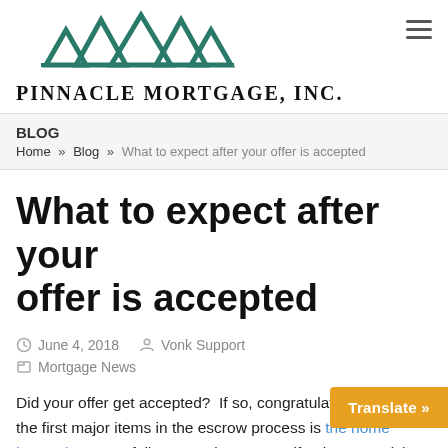[Figure (logo): Pinnacle Mortgage Inc. logo with teal mountain peaks and company name in bold serif text]
BLOG
Home » Blog » What to expect after your offer is accepted
What to expect after your offer is accepted
June 4, 2018   Vonk Support
Mortgage News
Did your offer get accepted?  If so, congratulations!!!  One of the first major items in the escrow process is the home inspection. Hopefully you took so yourself to have a quick celebration but